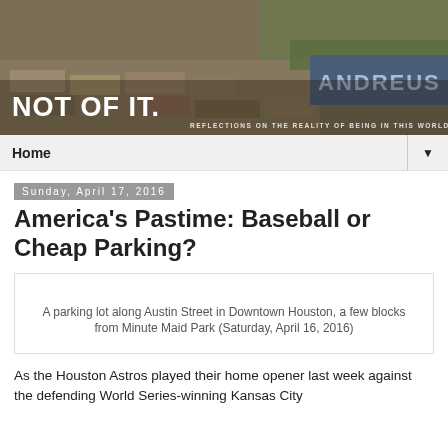[Figure (photo): Blog header banner showing a stone path with grass and a mosaic wall reading 'ANDREUS'. White text overlay reads 'NOT OF IT.' and subtitle 'REFLECTIONS ON THE REALITY OF BEING IN THIS WORLD']
Home ▼
Sunday, April 17, 2016
America's Pastime: Baseball or Cheap Parking?
A parking lot along Austin Street in Downtown Houston, a few blocks from Minute Maid Park (Saturday, April 16, 2016)
As the Houston Astros played their home opener last week against the defending World Series-winning Kansas City